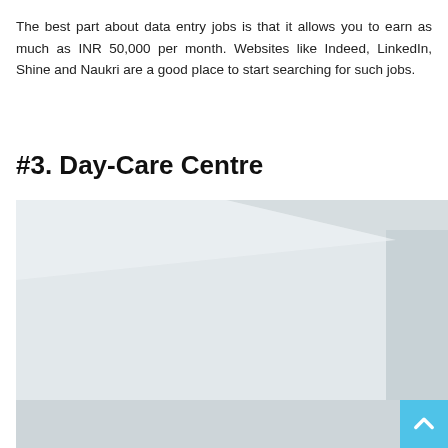The best part about data entry jobs is that it allows you to earn as much as INR 50,000 per month. Websites like Indeed, LinkedIn, Shine and Naukri are a good place to start searching for such jobs.
#3. Day-Care Centre
[Figure (photo): A light grey interior room photo showing white/grey walls and surfaces, partially visible.]